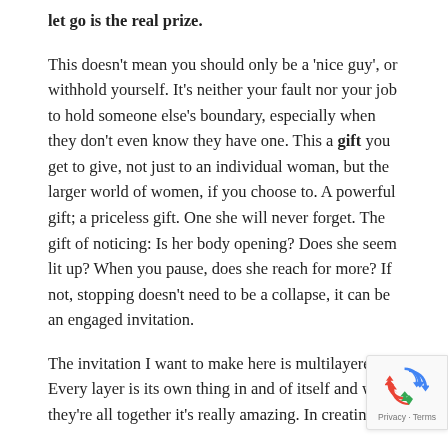let go is the real prize.
This doesn't mean you should only be a 'nice guy', or withhold yourself. It's neither your fault nor your job to hold someone else's boundary, especially when they don't even know they have one. This a gift you get to give, not just to an individual woman, but the larger world of women, if you choose to. A powerful gift; a priceless gift. One she will never forget. The gift of noticing: Is her body opening? Does she seem lit up? When you pause, does she reach for more? If not, stopping doesn't need to be a collapse, it can be an engaged invitation.
The invitation I want to make here is multilayered. Every layer is its own thing in and of itself and when they're all together it's really amazing. In creating a
[Figure (other): reCAPTCHA badge with Google logo and Privacy/Terms text]